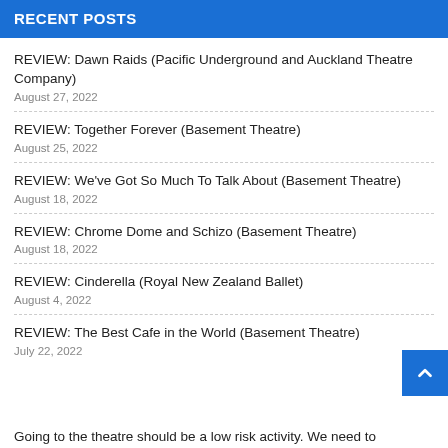RECENT POSTS
REVIEW: Dawn Raids (Pacific Underground and Auckland Theatre Company)
August 27, 2022
REVIEW: Together Forever (Basement Theatre)
August 25, 2022
REVIEW: We've Got So Much To Talk About (Basement Theatre)
August 18, 2022
REVIEW: Chrome Dome and Schizo (Basement Theatre)
August 18, 2022
REVIEW: Cinderella (Royal New Zealand Ballet)
August 4, 2022
REVIEW: The Best Cafe in the World (Basement Theatre)
July 22, 2022
Going to the theatre should be a low risk activity. We need to